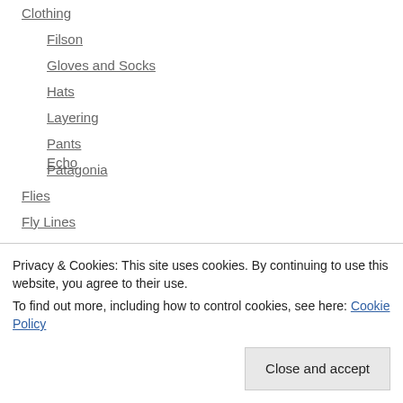Clothing
Filson
Gloves and Socks
Hats
Layering
Pants
Patagonia
Flies
Fly Lines
Airflo
Royal Wulff
Scientific Anglers
Fly Reels
Privacy & Cookies: This site uses cookies. By continuing to use this website, you agree to their use.
To find out more, including how to control cookies, see here: Cookie Policy
Echo